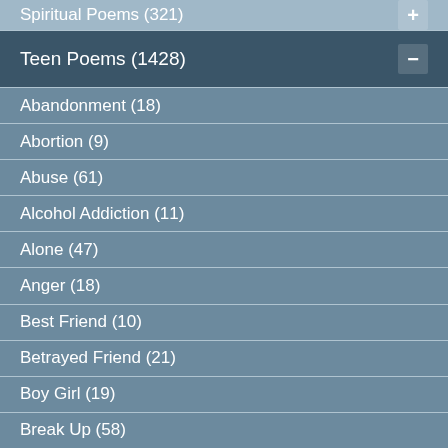Spiritual Poems (321)
Teen Poems (1428)
Abandonment (18)
Abortion (9)
Abuse (61)
Alcohol Addiction (11)
Alone (47)
Anger (18)
Best Friend (10)
Betrayed Friend (21)
Boy Girl (19)
Break Up (58)